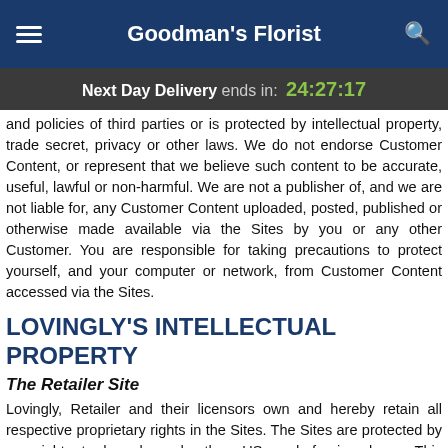Goodman's Florist
Next Day Delivery ends in: 24:27:17
and policies of third parties or is protected by intellectual property, trade secret, privacy or other laws. We do not endorse Customer Content, or represent that we believe such content to be accurate, useful, lawful or non-harmful. We are not a publisher of, and we are not liable for, any Customer Content uploaded, posted, published or otherwise made available via the Sites by you or any other Customer. You are responsible for taking precautions to protect yourself, and your computer or network, from Customer Content accessed via the Sites.
LOVINGLY'S INTELLECTUAL PROPERTY
The Retailer Site
Lovingly, Retailer and their licensors own and hereby retain all respective proprietary rights in the Sites. The Sites are protected by copyright, trademark and other US and foreign laws. This Agreement does not grant you any right, title or interest in the Sites, our trademarks, logos or other brand features or intellectual property, whether or not the content in the Sites. You